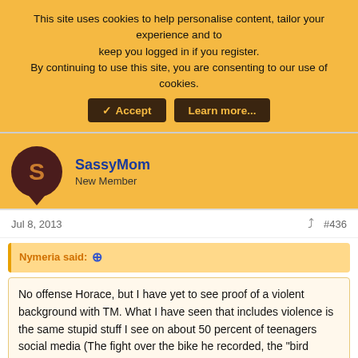This site uses cookies to help personalise content, tailor your experience and to keep you logged in if you register. By continuing to use this site, you are consenting to our use of cookies.
✓ Accept | Learn more...
SassyMom
New Member
Jul 8, 2013  #436
Nymeria said: ↑
No offense Horace, but I have yet to see proof of a violent background with TM. What I have seen that includes violence is the same stupid stuff I see on about 50 percent of teenagers social media (The fight over the bike he recorded, the "bird flipping" pics, the tough talk in his tweets, etc.).
If one was inclined they could go to twitter, facebook, and youtube and